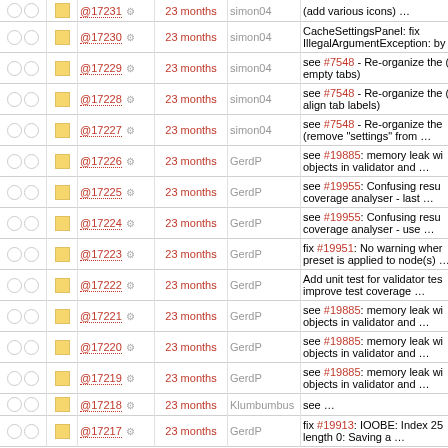|  |  | Rev | Age | Author | Message |
| --- | --- | --- | --- | --- | --- |
| ○ ○ | ▪ | @17230 ⚙ | 23 months | simon04 | CacheSettingsPanel: fix IllegalArgumentException: by |
| ○ ○ | ▪ | @17229 ⚙ | 23 months | simon04 | see #7548 - Re-organize the (hide empty tabs) |
| ○ ○ | ▪ | @17228 ⚙ | 23 months | simon04 | see #7548 - Re-organize the (left-align tab labels) |
| ○ ○ | ▪ | @17227 ⚙ | 23 months | simon04 | see #7548 - Re-organize the (remove "settings" from ... |
| ○ ○ | ▪ | @17226 ⚙ | 23 months | GerdP | see #19885: memory leak wi objects in validator and ... |
| ○ ○ | ▪ | @17225 ⚙ | 23 months | GerdP | see #19955: Confusing resu coverage analyser - last ... |
| ○ ○ | ▪ | @17224 ⚙ | 23 months | GerdP | see #19955: Confusing resu coverage analyser - use ... |
| ○ ○ | ▪ | @17223 ⚙ | 23 months | GerdP | fix #19951: No warning wher preset is applied to node(s) |
| ○ ○ | ▪ | @17222 ⚙ | 23 months | GerdP | Add unit test for validator tes improve test coverage ... |
| ○ ○ | ▪ | @17221 ⚙ | 23 months | GerdP | see #19885: memory leak wi objects in validator and ... |
| ○ ○ | ▪ | @17220 ⚙ | 23 months | GerdP | see #19885: memory leak wi objects in validator and ... |
| ○ ○ | ▪ | @17219 ⚙ | 23 months | GerdP | see #19885: memory leak wi objects in validator and ... |
| ○ ○ | ▪ | @17218 ⚙ | 23 months | Klumbumbus | see ... |
| ○ ○ | ▪ | @17217 ⚙ | 23 months | GerdP | fix #19913: IOOBE: Index 25 length 0: Saving a ... |